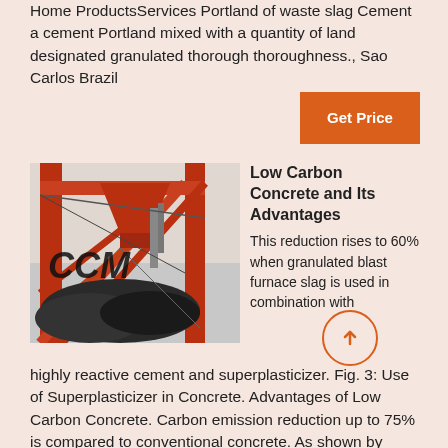Home ProductsServices Portland of waste slag Cement a cement Portland mixed with a quantity of land designated granulated thorough thoroughness., Sao Carlos Brazil
Get Price
[Figure (photo): Industrial red metal framework structure with conveyor belts and slag/coal materials, with 'CCM' text overlaid in black]
Low Carbon Concrete and Its Advantages
This reduction rises to 60% when granulated blast furnace slag is used in combination with highly reactive cement and superplasticizer. Fig. 3: Use of Superplasticizer in Concrete. Advantages of Low Carbon Concrete. Carbon emission reduction up to 75% is compared to conventional concrete. As shown by...